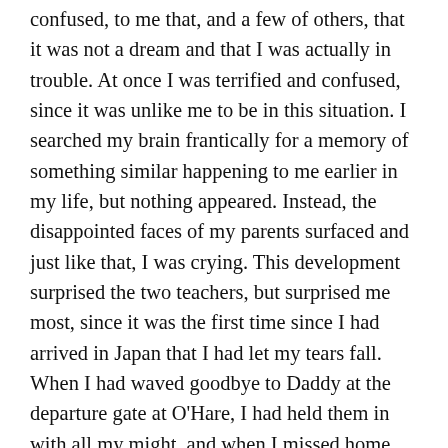confused, to me that, and a few of others, that it was not a dream and that I was actually in trouble. At once I was terrified and confused, since it was unlike me to be in this situation. I searched my brain frantically for a memory of something similar happening to me earlier in my life, but nothing appeared. Instead, the disappointed faces of my parents surfaced and just like that, I was crying. This development surprised the two teachers, but surprised me most, since it was the first time since I had arrived in Japan that I had let my tears fall. When I had waved goodbye to Daddy at the departure gate at O'Hare, I had held them in with all my might, and when I missed home more than anything in the world, I had bit my lip, had taken deep breaths and had tried to smile...and yet, there, in the middle of a crowded teachers' lounge, in front of two teachers, I had finally lost my self-control and was entirely powerless to stop salty liquid from running down my cheeks.